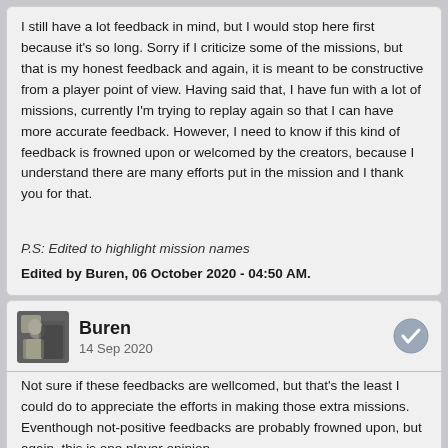I still have a lot feedback in mind, but I would stop here first because it's so long. Sorry if I criticize some of the missions, but that is my honest feedback and again, it is meant to be constructive from a player point of view. Having said that, I have fun with a lot of missions, currently I'm trying to replay again so that I can have more accurate feedback. However, I need to know if this kind of feedback is frowned upon or welcomed by the creators, because I understand there are many efforts put in the mission and I thank you for that.
P.S: Edited to highlight mission names
Edited by Buren, 06 October 2020 - 04:50 AM.
Buren
14 Sep 2020
Not sure if these feedbacks are wellcomed, but that's the least I could do to appreciate the efforts in making those extra missions. Eventhough not-positive feedbacks are probably frowned upon, but again, this is one player opinion.